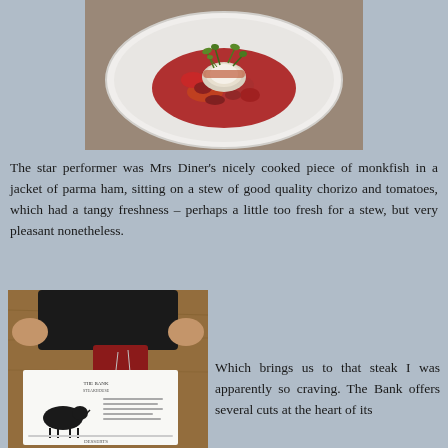[Figure (photo): A white plate with a piece of monkfish wrapped in parma ham, sitting on a stew of chorizo and tomatoes, garnished with microgreens.]
The star performer was Mrs Diner's nicely cooked piece of monkfish in a jacket of parma ham, sitting on a stew of good quality chorizo and tomatoes, which had a tangy freshness – perhaps a little too fresh for a stew, but very pleasant nonetheless.
[Figure (photo): A person holding a large black menu at a restaurant table. Below is a white menu card showing cuts of steak with a black cow illustration.]
Which brings us to that steak I was apparently so craving. The Bank offers several cuts at the heart of its